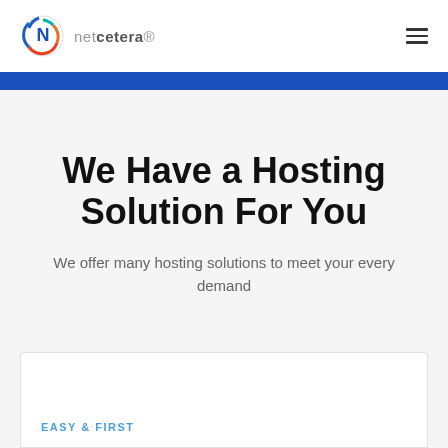netcetera
We Have a Hosting Solution For You
We offer many hosting solutions to meet your every demand
EASY & FIRST